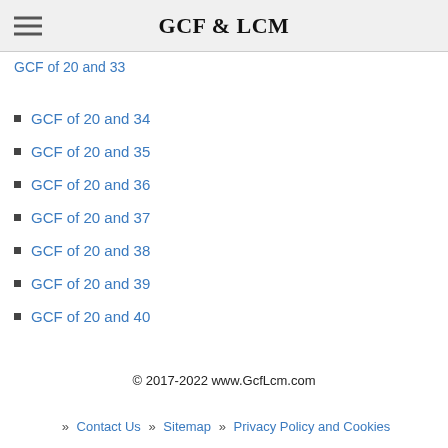GCF & LCM
GCF of 20 and 33
GCF of 20 and 34
GCF of 20 and 35
GCF of 20 and 36
GCF of 20 and 37
GCF of 20 and 38
GCF of 20 and 39
GCF of 20 and 40
© 2017-2022 www.GcfLcm.com
» Contact Us  » Sitemap  » Privacy Policy and Cookies